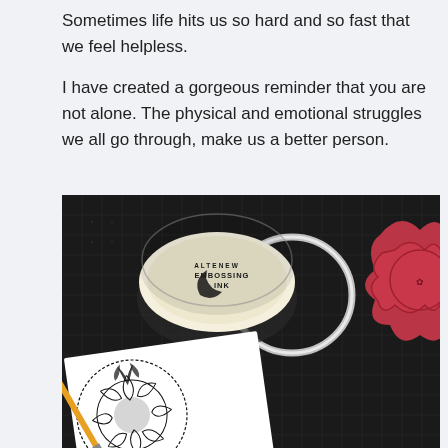Sometimes life hits us so hard and so fast that we feel helpless.
I have created a gorgeous reminder that you are not alone. The physical and emotional struggles we all go through, make us a better person.
[Figure (photo): Overhead photo on a black grid cutting mat showing crafting supplies: an Altenew Embossing Ink pad in the center, a red decorative rubber stamp (floral/mandala sunburst), a silver ring/bracelet, a paintbrush with orange handle, and a white card with a black mandala/sunburst stamp design. The word 'joy' is partially visible at the bottom.]